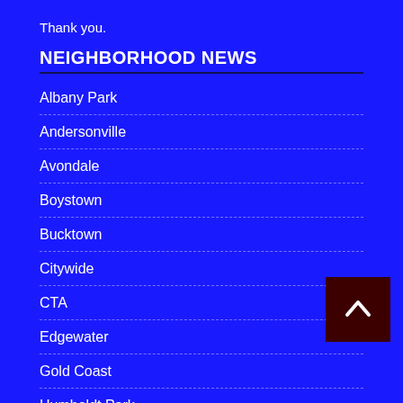Thank you.
NEIGHBORHOOD NEWS
Albany Park
Andersonville
Avondale
Boystown
Bucktown
Citywide
CTA
Edgewater
Gold Coast
Humboldt Park
Irving Park